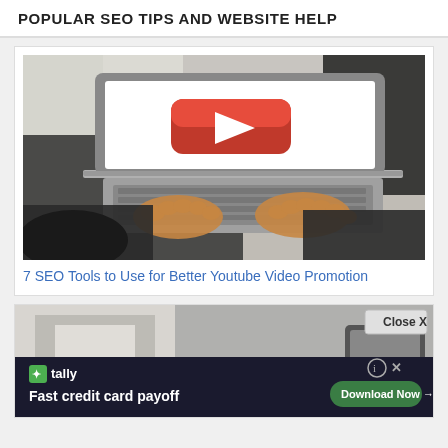POPULAR SEO TIPS AND WEBSITE HELP
[Figure (photo): Person typing on a laptop with a YouTube play button visible on the laptop screen]
7 SEO Tools to Use for Better Youtube Video Promotion
[Figure (screenshot): Bottom of page showing another article thumbnail and an advertisement overlay for Tally: Fast credit card payoff with Download Now button and Close X button]